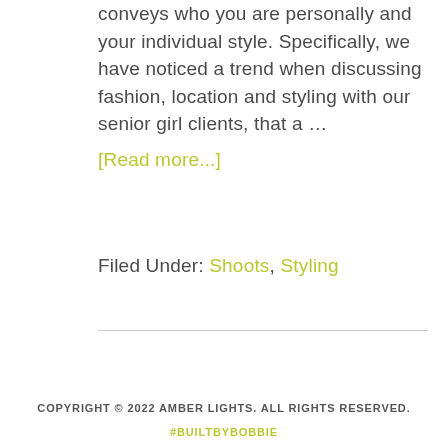conveys who you are personally and your individual style. Specifically, we have noticed a trend when discussing fashion, location and styling with our senior girl clients, that a … [Read more...]
Filed Under: Shoots, Styling
COPYRIGHT © 2022 AMBER LIGHTS. ALL RIGHTS RESERVED. #BUILTBYBOBBIE